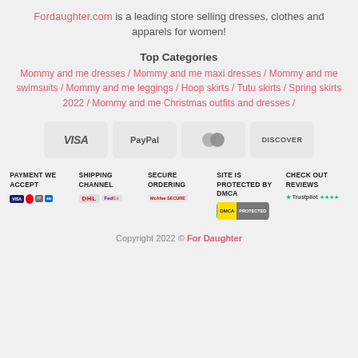Fordaughter.com is a leading store selling dresses, clothes and apparels for women!
Top Categories
Mommy and me dresses / Mommy and me maxi dresses / Mommy and me swimsuits / Mommy and me leggings / Hoop skirts / Tutu skirts / Spring skirts 2022 / Mommy and me Christmas outfits and dresses /
[Figure (logo): Payment method icons: VISA, PayPal, MasterCard, Discover]
[Figure (infographic): Trust section with five columns: PAYMENT WE ACCEPT (visa/mc/paypal/amex icons), SHIPPING CHANNEL (DHL/FedEx logos), SECURE ORDERING (McAfee Secure badge), SITE IS PROTECTED BY DMCA (DMCA Protected badge), CHECK OUT REVIEWS (Trustpilot stars)]
Copyright 2022 © For Daughter